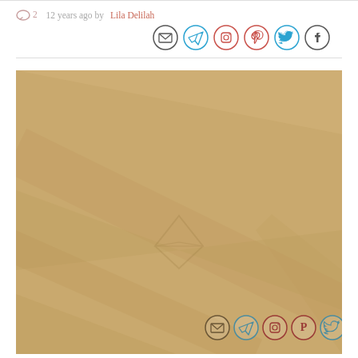2  12 years ago by Lila Delilah
[Figure (illustration): Row of six social media share icons (email, Telegram, Instagram, Pinterest, Twitter, Facebook) in circles with colored outlines]
[Figure (photo): Large golden/tan colored background image with diagonal geometric shapes and a faint diamond/gem icon watermark in the center, with a second row of social share icons overlaid at the bottom]
[Figure (illustration): Row of six social media share icons (email, Telegram, Instagram, Pinterest, Twitter, Facebook) overlaid on the image at the bottom]